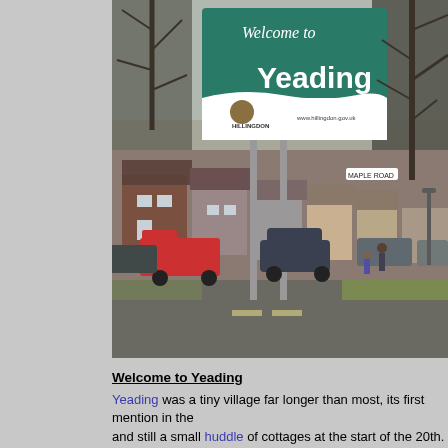[Figure (photo): Street photograph showing a 'Welcome to Yeading' sign mounted on two metal poles along a suburban road. The green and white sign displays 'Welcome to' in script and 'Yeading' in large white text, with the Hillingdon council logo and website www.hillingdon.gov.uk below. Behind the sign are rows of semi-detached houses, bare trees, parked cars, and pedestrians on the pavement. A street sign reading 'Maple Road' is visible in the background.]
Welcome to Yeading
Yeading was a tiny village far longer than most, its first mention in the... and still a small huddle of cottages at the start of the 20th. Development creeping north from the Uxbridge Road in the 1930s and finally jump...